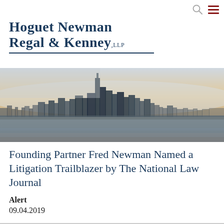Hoguet Newman Regal & Kenney, LLP
[Figure (photo): Aerial panoramic photo of the New York City skyline at dusk/dawn with warm sky tones, showing Manhattan skyscrapers including One World Trade Center, with water visible in the background.]
Founding Partner Fred Newman Named a Litigation Trailblazer by The National Law Journal
Alert
09.04.2019